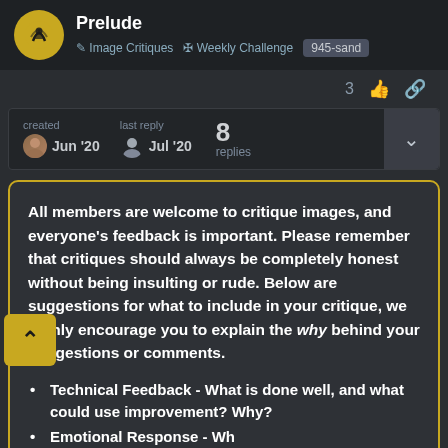Prelude — Image Critiques | Weekly Challenge | 945-sand
3 👍 🔗
created Jun '20  last reply Jul '20  8 replies
All members are welcome to critique images, and everyone's feedback is important. Please remember that critiques should always be completely honest without being insulting or rude. Below are suggestions for what to include in your critique, we highly encourage you to explain the why behind your suggestions or comments.
Technical Feedback - What is done well, and what could use improvement? Why?
Emotional Response - What does it communicate...